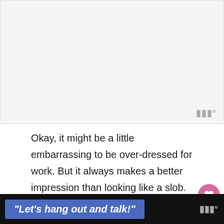[Figure (other): Blank/white image area with a watermark logo in the bottom right corner]
Okay, it might be a little embarrassing to be over-dressed for work. But it always makes a better impression than looking like a slob. When you think about it, it's really a no-
"Let's hang out and talk!"